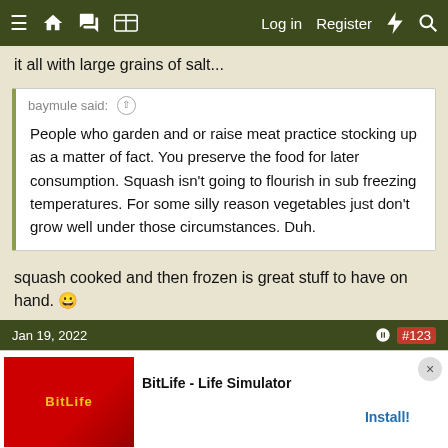≡ 🏠 💬 📋  Log in  Register ⚡ 🔍
it all with large grains of salt...
baymule said: ↑
People who garden and or raise meat practice stocking up as a matter of fact. You preserve the food for later consumption. Squash isn't going to flourish in sub freezing temperatures. For some silly reason vegetables just don't grow well under those circumstances. Duh.
squash cooked and then frozen is great stuff to have on hand. 🙂
👍 baymule
Jan 19, 2022
[Figure (screenshot): Ad banner for BitLife - Life Simulator app with Install button and close button]